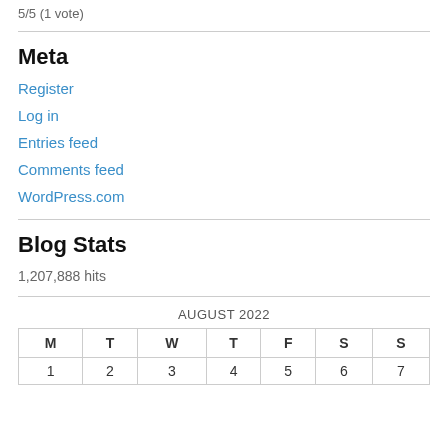5/5 (1 vote)
Meta
Register
Log in
Entries feed
Comments feed
WordPress.com
Blog Stats
1,207,888 hits
| M | T | W | T | F | S | S |
| --- | --- | --- | --- | --- | --- | --- |
| 1 | 2 | 3 | 4 | 5 | 6 | 7 |